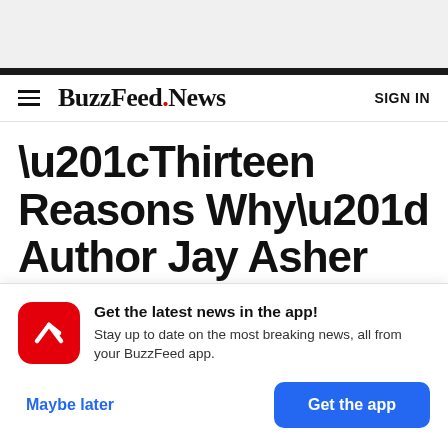BuzzFeed.News | SIGN IN
“Thirteen Reasons Why” Author Jay Asher Was Removed From A Literary Organization
[Figure (infographic): BuzzFeed app promotional popup with red BuzzFeed logo icon, headline 'Get the latest news in the app!', subtext 'Stay up to date on the most breaking news, all from your BuzzFeed app.', with 'Maybe later' and 'Get the app' buttons]